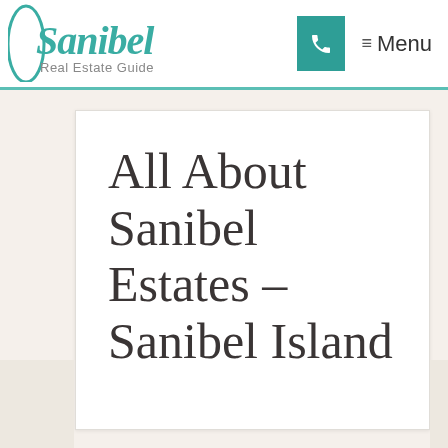[Figure (logo): Sanibel Real Estate Guide logo with teal script 'Sanibel' and gray 'Real Estate Guide' text]
[Figure (other): Teal phone button icon for mobile navigation]
≡ Menu
All About Sanibel Estates – Sanibel Island